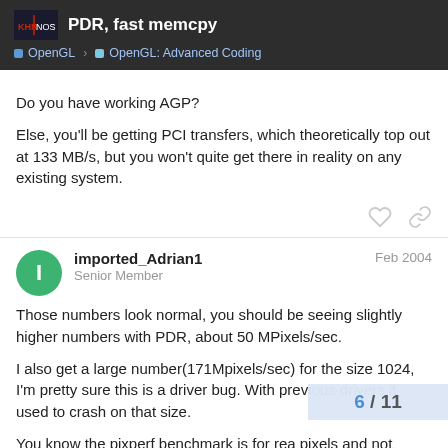PDR, fast memcpy | OpenGL > OpenGL: Advanced Coding
Do you have working AGP?
Else, you'll be getting PCI transfers, which theoretically top out at 133 MB/s, but you won't quite get there in reality on any existing system.
imported_Adrian1 — Senior Member — Feb 2004
Those numbers look normal, you should be seeing slightly higher numbers with PDR, about 50 MPixels/sec.
I also get a large number(171Mpixels/sec) for the size 1024, I'm pretty sure this is a driver bug. With previous drivers it used to crash on that size.
You know the pixperf benchmark is for rea pixels and not subimage2d I presume.
6 / 11